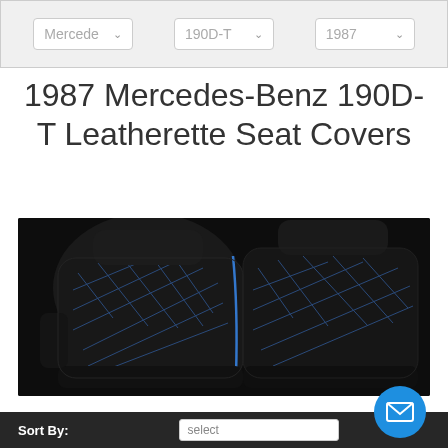[Figure (screenshot): Vehicle selector dropdowns showing Mercedes, 190D-T, 1987]
1987 Mercedes-Benz 190D-T Leatherette Seat Covers
[Figure (photo): Black leatherette car seat covers with blue diamond stitching pattern and blue piping]
Leatherette Seat Covers
Synthetic (faux) leather that looks real and offers the absolute best seat protection. Rejuvenate older seats and make your car's interior look new again!
[Figure (screenshot): Bottom sort bar with Sort By label, select dropdown, and email contact button]